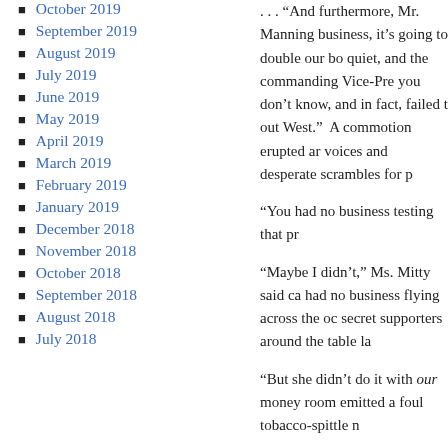October 2019
September 2019
August 2019
July 2019
June 2019
May 2019
April 2019
March 2019
February 2019
January 2019
December 2018
November 2018
October 2018
September 2018
August 2018
July 2018
. . . “And furthermore, Mr. Manning business, it’s going to double our bo quiet, and the commanding Vice-Pre you don’t know, and in fact, failed t out West.”  A commotion erupted ar voices and desperate scrambles for p
“You had no business testing that pr
“Maybe I didn’t,” Ms. Mitty said ca had no business flying across the oc secret supporters around the table la
“But she didn’t do it with our money room emitted a foul tobacco-spittle n
“And neither . . .  did I,” slowly stre with a small marketing company out around this table – we’ve sold every